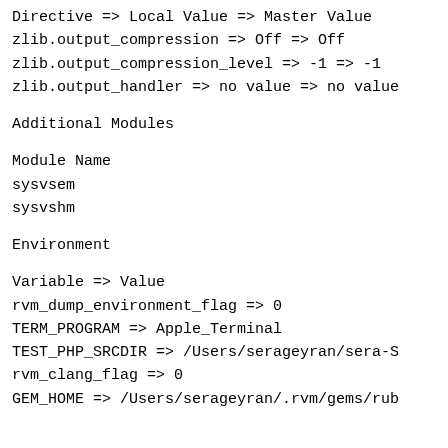| Directive | Local Value | Master Value |
| --- | --- | --- |
| zlib.output_compression | Off | Off |
| zlib.output_compression_level | -1 | -1 |
| zlib.output_handler | no value | no value |
Additional Modules
| Module Name |
| --- |
| sysvsem |
| sysvshm |
Environment
| Variable | Value |
| --- | --- |
| rvm_dump_environment_flag | 0 |
| TERM_PROGRAM | Apple_Terminal |
| TEST_PHP_SRCDIR | /Users/serageyran/sera-S |
| rvm_clang_flag | 0 |
| GEM_HOME | /Users/serageyran/.rvm/gems/rub |